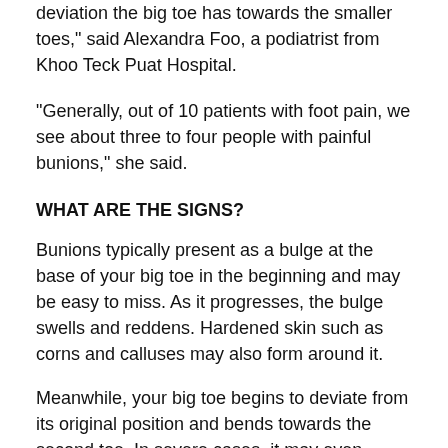deviation the big toe has towards the smaller toes," said Alexandra Foo, a podiatrist from Khoo Teck Puat Hospital.
“Generally, out of 10 patients with foot pain, we see about three to four people with painful bunions,” she said.
WHAT ARE THE SIGNS?
Bunions typically present as a bulge at the base of your big toe in the beginning and may be easy to miss. As it progresses, the bulge swells and reddens. Hardened skin such as corns and calluses may also form around it.
Meanwhile, your big toe begins to deviate from its original position and bends towards the second toe. In severe cases, it may even overlap with the second toe. There could be pain or a burning sensation when you try to bend your big toe, or it just feels numb.